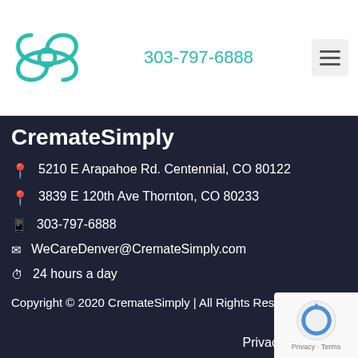[Figure (logo): CremateSimply logo — teal circular infinity/loop symbol]
303-797-6888
CremateSimply
5210 E Arapahoe Rd. Centennial, CO 80122
3839 E 120th Ave Thornton, CO 80233
303-797-6888
WeCareDenver@CremateSimply.com
24 hours a day
Copyright © 2020 CremateSimply | All Rights Reserved
Privac…